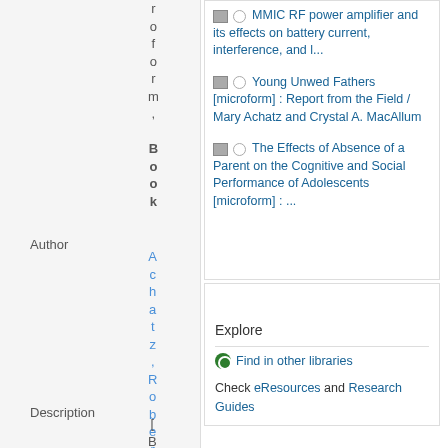r o f o r m , B o o k
Young Unwed Fathers [microform] : Report from the Field / Mary Achatz and Crystal A. MacAllum
The Effects of Absence of a Parent on the Cognitive and Social Performance of Adolescents [microform] : ...
Author
A c h a t z , R o b e r t J
Description
[ B
Explore
Find in other libraries
Check eResources and Research Guides